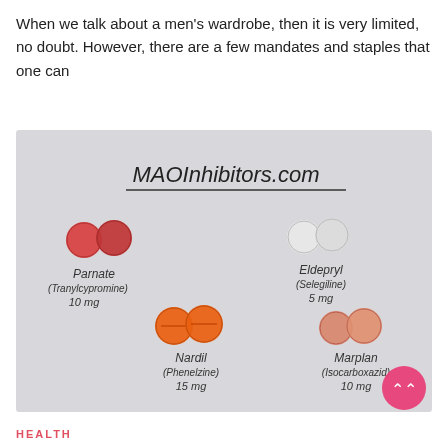When we talk about a men's wardrobe, then it is very limited, no doubt. However, there are a few mandates and staples that one can
[Figure (photo): Photo of four pairs of MAO Inhibitor pills on a white surface labeled 'MAOInhibitors.com'. Pills shown: Parnate (Tranylcypromine) 10 mg - two red round pills; Eldepryl (Selegiline) 5 mg - two white round pills; Nardil (Phenelzine) 15 mg - two orange round pills; Marplan (Isocarboxazid) 10 mg - two peach/orange round pills.]
HEALTH